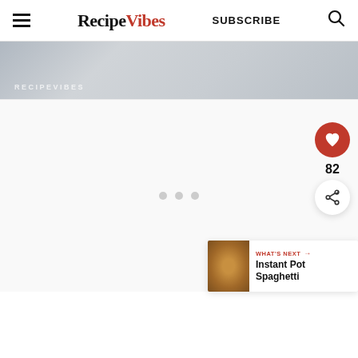RecipeVibes | SUBSCRIBE
[Figure (photo): Gray textured banner image with 'RECIPEVIBES' watermark text in bottom left]
[Figure (other): Loading placeholder white area with three gray dots indicating content loading]
82
WHAT'S NEXT → Instant Pot Spaghetti